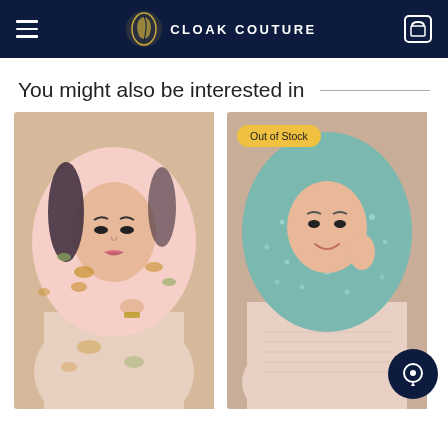Cloak Couture
You might also be interested in
[Figure (photo): Woman wearing a pink floral hijab with gold floral pattern, looking at camera, wearing a silver watch and bracelet. Photography on beige background.]
[Figure (photo): Woman wearing a teal/mint dotted hijab with pink outfit, smiling, hand near face. Photography on beige background. Badge reads 'Out of Stock'.]